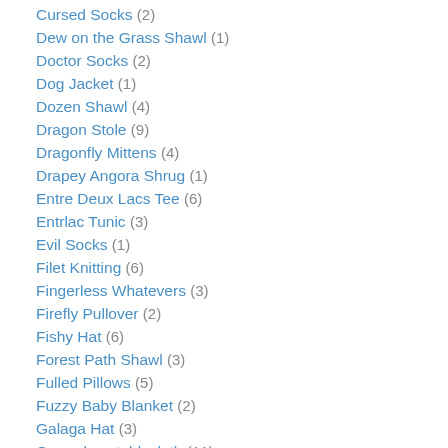Cursed Socks (2)
Dew on the Grass Shawl (1)
Doctor Socks (2)
Dog Jacket (1)
Dozen Shawl (4)
Dragon Stole (9)
Dragonfly Mittens (4)
Drapey Angora Shrug (1)
Entre Deux Lacs Tee (6)
Entrlac Tunic (3)
Evil Socks (1)
Filet Knitting (6)
Fingerless Whatevers (3)
Firefly Pullover (2)
Fishy Hat (6)
Forest Path Shawl (3)
Fulled Pillows (5)
Fuzzy Baby Blanket (2)
Galaga Hat (3)
Green lace tablecloth (11)